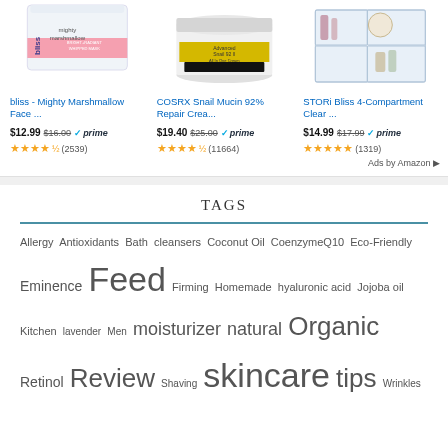[Figure (screenshot): Product ad: bliss - Mighty Marshmallow Face ... $12.99 $16.00 prime, 4.5 stars (2539)]
[Figure (screenshot): Product ad: COSRX Snail Mucin 92% Repair Crea... $19.40 $25.00 prime, 4.5 stars (11664)]
[Figure (screenshot): Product ad: STORi Bliss 4-Compartment Clear ... $14.99 $17.99 prime, 5 stars (1319)]
Ads by Amazon
TAGS
Allergy Antioxidants Bath cleansers Coconut Oil CoenzymeQ10 Eco-Friendly Eminence Feed Firming Homemade hyaluronic acid Jojoba oil Kitchen lavender Men moisturizer natural Organic Retinol Review Shaving skincare tips Wrinkles